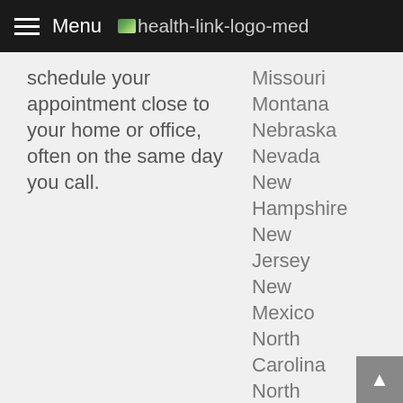Menu health-link-logo-med
schedule your appointment close to your home or office, often on the same day you call.
Missouri
Montana
Nebraska
Nevada
New Hampshire
New Jersey
New Mexico
North Carolina
North Dakota
Ohio
Oklahoma
Oregon
Pennsylvania
Rhode (cut off)